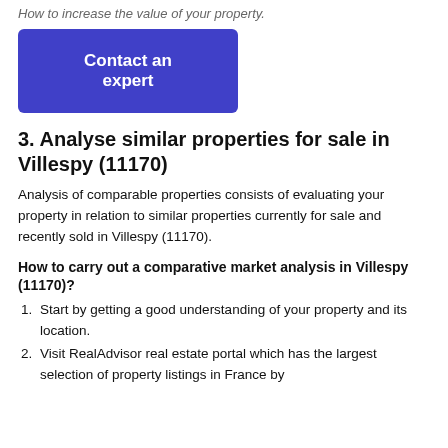How to increase the value of your property.
Contact an expert
3. Analyse similar properties for sale in Villespy (11170)
Analysis of comparable properties consists of evaluating your property in relation to similar properties currently for sale and recently sold in Villespy (11170).
How to carry out a comparative market analysis in Villespy (11170)?
Start by getting a good understanding of your property and its location.
Visit RealAdvisor real estate portal which has the largest selection of property listings in France by